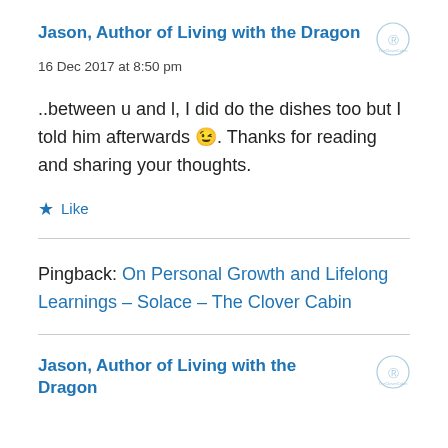Jason, Author of Living with the Dragon
16 Dec 2017 at 8:50 pm
..between u and l, I did do the dishes too but I told him afterwards 😉. Thanks for reading and sharing your thoughts.
★ Like
Pingback: On Personal Growth and Lifelong Learnings – Solace – The Clover Cabin
Jason, Author of Living with the Dragon